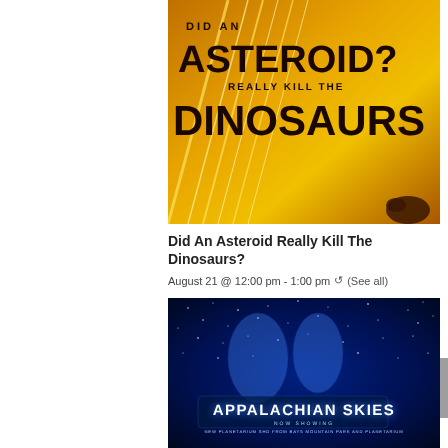[Figure (illustration): Promotional poster image with orange/yellow background and streaking light effects. Bold distressed text reads: 'DID AN ASTEROID? REALLY KILL THE DINOSAURS' with a dinosaur silhouette in the bottom right corner.]
Did An Asteroid Really Kill The Dinosaurs?
August 21 @ 12:00 pm - 1:00 pm  ↺  (See all)
[Figure (illustration): Promotional poster with dark blue starry night sky background showing constellation figures. Text reads 'APPALACHIAN SKIES' in large white letters, below: 'NOW SHOWING' and 'NEW PLANETARIUM SHD FROM BAYS MOUNTAIN PARK AND PLANETARIUM'.]